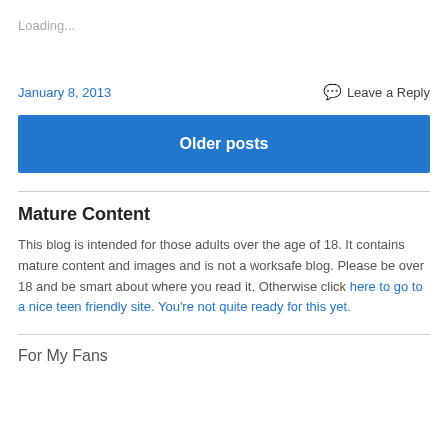Loading...
January 8, 2013
Leave a Reply
Older posts
Mature Content
This blog is intended for those adults over the age of 18. It contains mature content and images and is not a worksafe blog. Please be over 18 and be smart about where you read it. Otherwise click here to go to a nice teen friendly site. You're not quite ready for this yet.
For My Fans